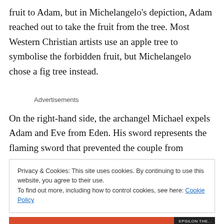fruit to Adam, but in Michelangelo's depiction, Adam reached out to take the fruit from the tree. Most Western Christian artists use an apple tree to symbolise the forbidden fruit, but Michelangelo chose a fig tree instead.
Advertisements
On the right-hand side, the archangel Michael expels Adam and Eve from Eden. His sword represents the flaming sword that prevented the couple from returning to
Privacy & Cookies: This site uses cookies. By continuing to use this website, you agree to their use.
To find out more, including how to control cookies, see here: Cookie Policy
Close and accept